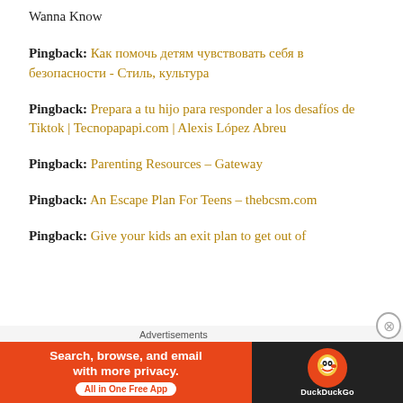Wanna Know
Pingback: Как помочь детям чувствовать себя в безопасности - Стиль, культура
Pingback: Prepara a tu hijo para responder a los desafíos de Tiktok | Tecnopapapi.com | Alexis López Abreu
Pingback: Parenting Resources – Gateway
Pingback: An Escape Plan For Teens – thebcsm.com
Pingback: Give your kids an exit plan to get out of
Advertisements
[Figure (screenshot): DuckDuckGo advertisement banner: orange left panel with text 'Search, browse, and email with more privacy. All in One Free App' and dark right panel with DuckDuckGo duck logo and brand name.]